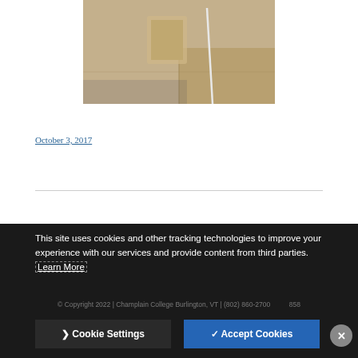[Figure (photo): Photo of a device or object on a tiled floor with a white cable]
October 3, 2017
← Older posts
This site uses cookies and other tracking technologies to improve your experience with our services and provide content from third parties. Learn More
© Copyright 2022 | Champlain College Burlington, VT | (802) 860-2700
Cookie Settings
✓ Accept Cookies